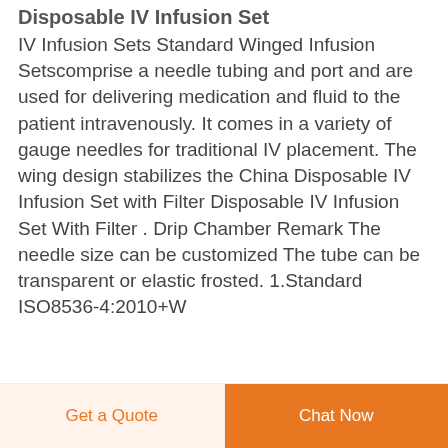Disposable IV Infusion Set
IV Infusion Sets Standard Winged Infusion Setscomprise a needle tubing and port and are used for delivering medication and fluid to the patient intravenously. It comes in a variety of gauge needles for traditional IV placement. The wing design stabilizes the China Disposable IV Infusion Set with Filter Disposable IV Infusion Set With Filter . Drip Chamber Remark The needle size can be customized The tube can be transparent or elastic frosted. 1.Standard ISO8536-4:2010+W...
Get a Quote  |  Chat Now